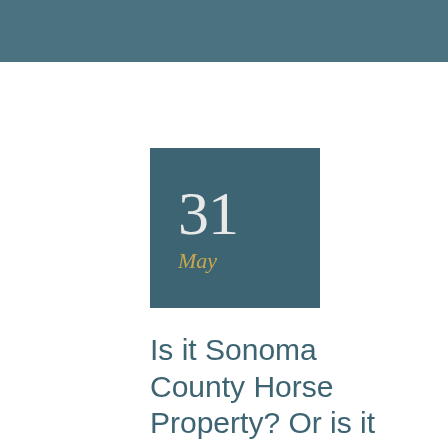[Figure (other): Calendar date badge showing '31' in large white numerals with 'May' in gold italic below, on a teal/dark blue square background]
Is it Sonoma County Horse Property? Or is it Horse-Able? What matters most to you?